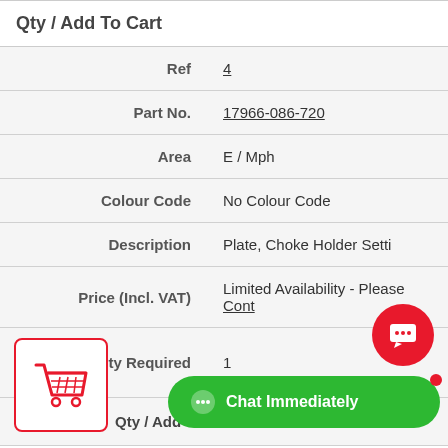| Field | Value |
| --- | --- |
| Qty / Add To Cart |  |
| Ref | 4 |
| Part No. | 17966-086-720 |
| Area | E / Mph |
| Colour Code | No Colour Code |
| Description | Plate, Choke Holder Setti |
| Price (Incl. VAT) | Limited Availability - Please Cont |
| Quantity Required | 1 |
| Qty / Add To Cart |  |
[Figure (illustration): Shopping cart icon in a red-bordered box, bottom left corner]
[Figure (illustration): Red circular chat bubble icon with speech bubble symbol, bottom right area]
[Figure (illustration): Green 'Chat Immediately' button with chat icon and red dot, bottom right]